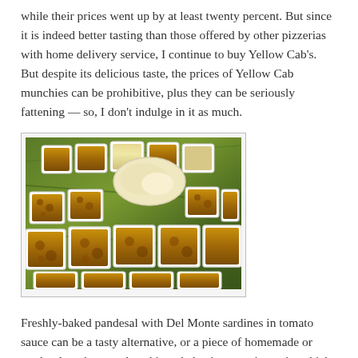while their prices went up by at least twenty percent. But since it is indeed better tasting than those offered by other pizzerias with home delivery service, I continue to buy Yellow Cab's. But despite its delicious taste, the prices of Yellow Cab munchies can be prohibitive, plus they can be seriously fattening — so, I don't indulge in it as much.
[Figure (photo): Overhead photo of Filipino native kakanin (rice cakes) — small square puto and sapin-sapin pieces arranged on banana leaves, displayed in white plastic trays, with golden-brown coloring.]
Freshly-baked pandesal with Del Monte sardines in tomato sauce can be a tasty alternative, or a piece of homemade or market-bought puto, kunchinta, kakanin or sapin-sapin, which can be just as delightful as well.